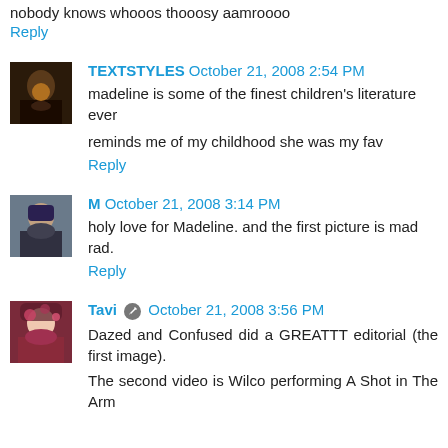nobody knows whooos thooosy aamroooo
Reply
TEXTSTYLES October 21, 2008 2:54 PM
madeline is some of the finest children's literature ever
reminds me of my childhood she was my fav
Reply
M October 21, 2008 3:14 PM
holy love for Madeline. and the first picture is mad rad.
Reply
Tavi October 21, 2008 3:56 PM
Dazed and Confused did a GREATTT editorial (the first image).
The second video is Wilco performing A Shot in The Arm